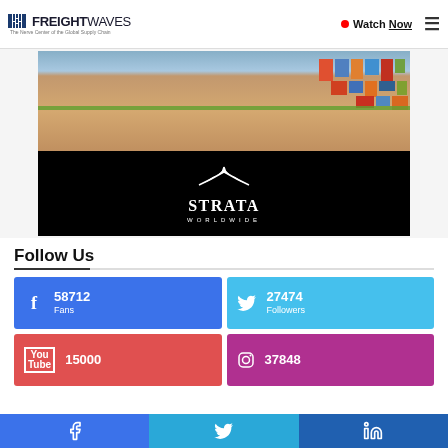FREIGHTWAVES - The Nerve Center of the Global Supply Chain | Watch Now
[Figure (photo): Advertisement image showing shipping containers at a port on top, and the Strata Worldwide logo on a black background below]
Follow Us
58712 Fans - Facebook
27474 Followers - Twitter
15000 - YouTube
37848 - Instagram
Facebook | Twitter | LinkedIn social share buttons